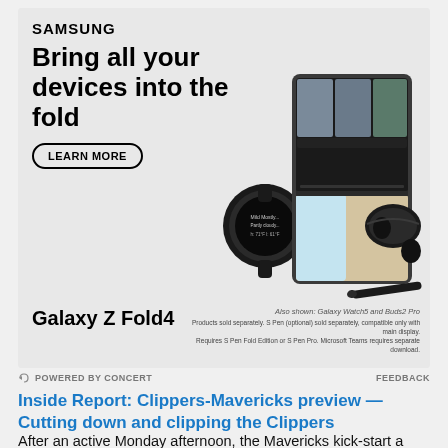[Figure (infographic): Samsung advertisement featuring Galaxy Z Fold4, Galaxy Watch5, Buds2 Pro, and S Pen. Shows devices with Microsoft Teams video call on the foldable phone screen.]
POWERED BY CONCERT   FEEDBACK
Inside Report: Clippers-Mavericks preview — Cutting down and clipping the Clippers
After an active Monday afternoon, the Mavericks kick-start a four-game homestand with a bang Tuesday